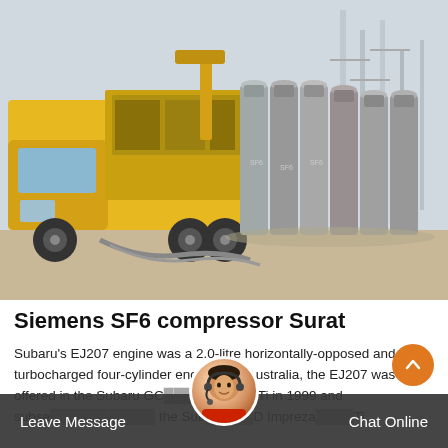[Figure (photo): A yellow utility truck with equipment mounted on back, parked near a row of large grey SF6 gas cylinders standing upright, with electrical infrastructure in the background.]
Siemens SF6 compressor Surat
Subaru's EJ207 engine was a 2.0-litre horizontally-opposed and turbocharged four-cylinder engine. For Australia, the EJ207 was first offered in the Subaru GC Impreza WRX STi in 1999 and subsequently powered the Subaru GD Impreza WRX STi.
Leave Message   Chat Online